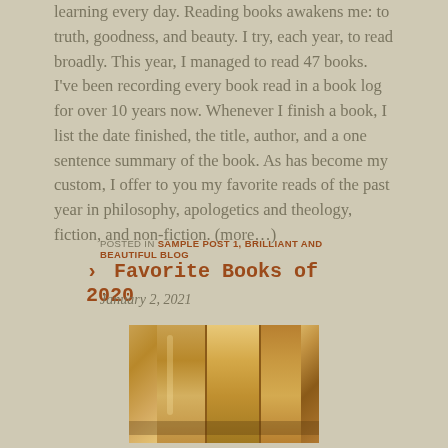learning every day. Reading books awakens me: to truth, goodness, and beauty. I try, each year, to read broadly. This year, I managed to read 47 books. I've been recording every book read in a book log for over 10 years now. Whenever I finish a book, I list the date finished, the title, author, and a one sentence summary of the book. As has become my custom, I offer to you my favorite reads of the past year in philosophy, apologetics and theology, fiction, and non-fiction. (more…)
POSTED IN SAMPLE POST 1, BRILLIANT AND BEAUTIFUL BLOG
Favorite Books of 2020
January 2, 2021
[Figure (photo): Photo of books with golden/amber spines standing upright, warm lighting]